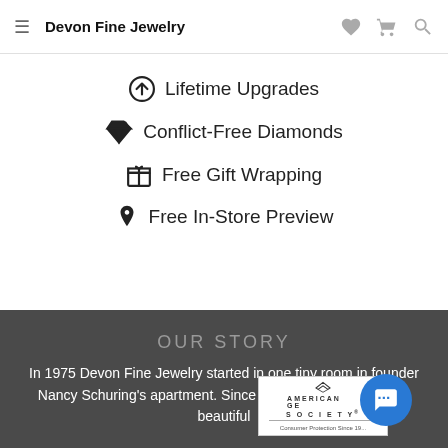Devon Fine Jewelry
Lifetime Upgrades
Conflict-Free Diamonds
Free Gift Wrapping
Free In-Store Preview
OUR STORY
In 1975 Devon Fine Jewelry started in one tiny room in founder Nancy Schuring's apartment. Since then it has moved to our beautiful
[Figure (logo): American Gem Society logo with text 'AMERICAN GEM SOCIETY' and 'Consumer Protection Since 19...']